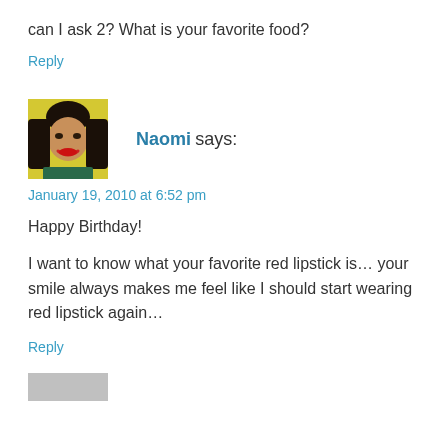can I ask 2? What is your favorite food?
Reply
[Figure (photo): Profile photo of Naomi, a woman with dark hair and red lipstick against a yellow background]
Naomi says:
January 19, 2010 at 6:52 pm
Happy Birthday!
I want to know what your favorite red lipstick is… your smile always makes me feel like I should start wearing red lipstick again…
Reply